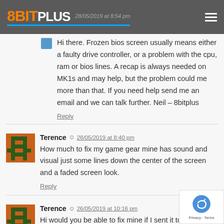8BIT PLUS
Hi there. Frozen bios screen usually means either a faulty drive controller, or a problem with the cpu, ram or bios lines. A recap is always needed on MK1s and may help, but the problem could me more than that. If you need help send me an email and we can talk further. Neil – 8bitplus
Reply
Terence 28/05/2019 at 8:40 pm
How much to fix my game gear mine has sound and visual just some lines down the center of the screen and a faded screen look.
Reply
Terence 26/05/2019 at 10:16 pm
Hi would you be able to fix mine if I sent it to you